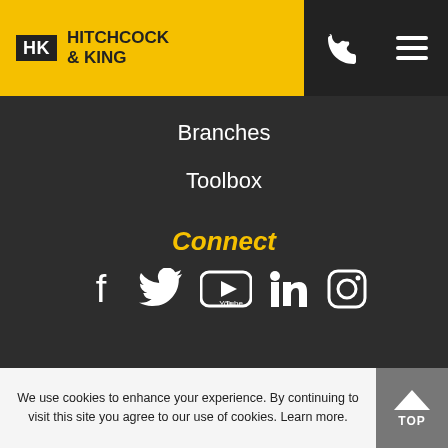HK Hitchcock & King
Branches
Toolbox
Connect
[Figure (infographic): Social media icons: Facebook, Twitter, YouTube, LinkedIn, Instagram]
© Hitchcock & King 2022. All Rights Reserved · Cookies & Privacy Policy Hitchcock & King is a registered company in England · Registered Number: 07377383 · VAT Number: 07377383
We use cookies to enhance your experience. By continuing to visit this site you agree to our use of cookies. Learn more.